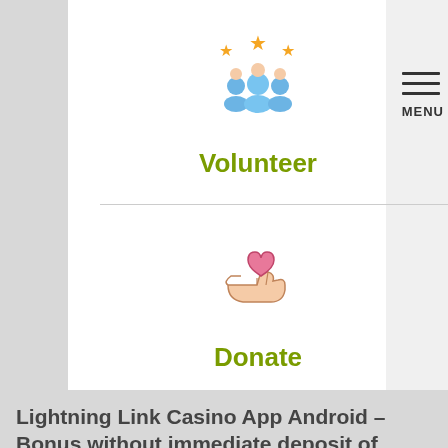[Figure (illustration): Icon of three people with star ratings above their heads (volunteer icon)]
Volunteer
[Figure (illustration): Icon of an open hand holding a heart (donate icon)]
Donate
Lightning Link Casino App Android – Bonus without immediate deposit of online casinos
Online slots odds Once you are ready to begin, you wonder...
Read More